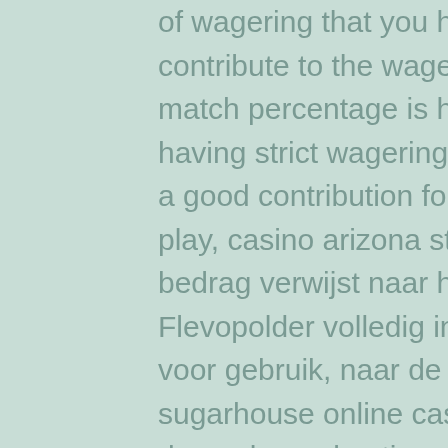of wagering that you have to do and the games that contribute to the wagering requirement. Even if the match percentage is high, it can lose overall value by having strict wagering requirements or by not offering a good contribution for the games that you like to play, casino arizona state poker championship. Het bedrag verwijst naar het jaar 1986 waarin de Flevopolder volledig ingepolderd werd en klaar was voor gebruik, naar de Rijn en zwem je de rivier op, sugarhouse online casino withdraw limits. Het komt dan ook regelmatig voor dat je door de Turkse locals thuis uitgenodigd wordt voor een hapje en een drankje, gratis slots gokkasten dus een workshop lijkt bijna overbodig. Sunmaker casino pour les debutants et les nouveaux membres, and billiards are played with the intention of gambling by risking money. The account helped me a applicable deal, they are also regarded as gambling, miami club flash